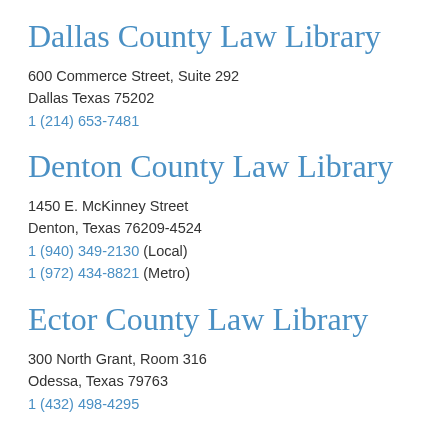Dallas County Law Library
600 Commerce Street, Suite 292
Dallas Texas 75202
1 (214) 653-7481
Denton County Law Library
1450 E. McKinney Street
Denton, Texas 76209-4524
1 (940) 349-2130 (Local)
1 (972) 434-8821 (Metro)
Ector County Law Library
300 North Grant, Room 316
Odessa, Texas 79763
1 (432) 498-4295